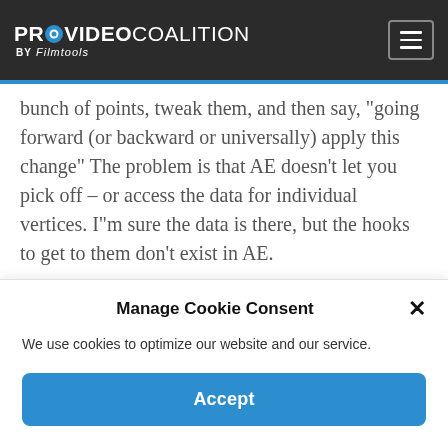PROVIDEO COALITION BY Filmtools
bunch of points, tweak them, and then say, “going forward (or backward or universally) apply this change” The problem is that AE doesn't let you pick off – or access the data for individual vertices. I”m sure the data is there, but the hooks to get to them don't exist in AE.
Have you ever taken a generated roto (generated in Mocha or even AE's Shape
Manage Cookie Consent
We use cookies to optimize our website and our service.
Accept